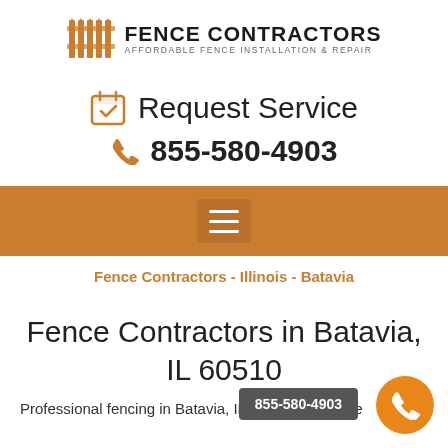[Figure (logo): Fence Contractors logo with fence icon and text: FENCE CONTRACTORS / AFFORDABLE FENCE INSTALLATION & REPAIR]
Request Service
855-580-4903
[Figure (other): Orange navigation bar with hamburger menu icon]
Fence Contractors - Illinois - Batavia
Fence Contractors in Batavia, IL 60510
Professional fencing in Batavia, IL, providing a wide
855-580-4903